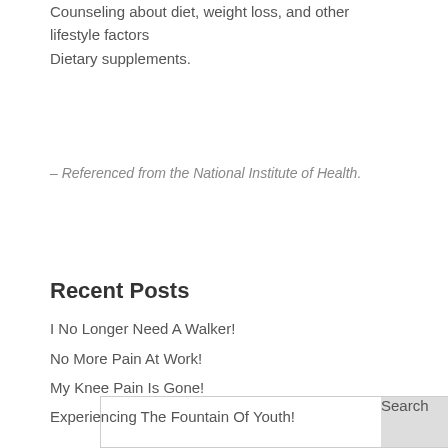Counseling about diet, weight loss, and other lifestyle factors
Dietary supplements.
– Referenced from the National Institute of Health.
Recent Posts
I No Longer Need A Walker!
No More Pain At Work!
My Knee Pain Is Gone!
Experiencing The Fountain Of Youth!
I No Longer Need Surgery!
Recent Comments
Archives